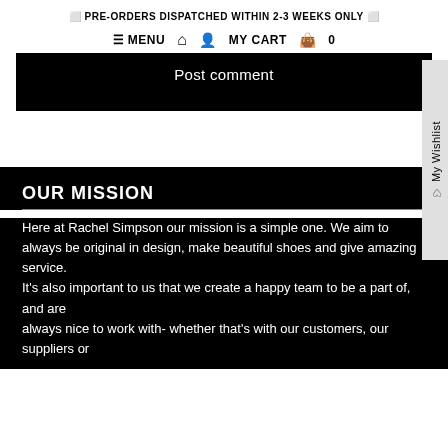⬜ PRE-ORDERS DISPATCHED WITHIN 2-3 WEEKS ONLY ⬜
≡ MENU  ⌂  👤  MY CART  🛍  0
Post comment
OUR MISSION
Here at Rachel Simpson our mission is a simple one. We aim to always be original in design, make beautiful shoes and give amazing service.
It's also important to us that we create a happy team to be a part of, and are
always nice to work with- whether that's with our customers, our suppliers or